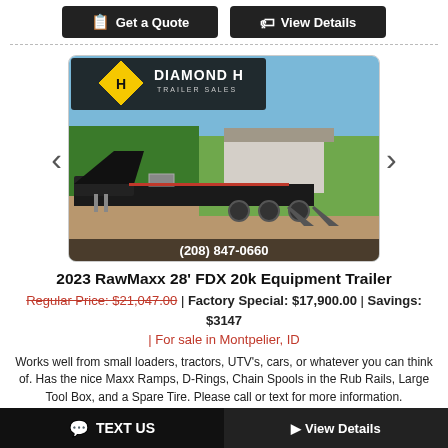Get a Quote | View Details
[Figure (photo): Diamond H Trailer Sales photo showing a 2023 RawMaxx 28' FDX 20k Equipment Trailer, a black gooseneck flatbed/equipment trailer with ramps down, parked outdoors. Phone number (208) 847-0660 shown at bottom.]
2023 RawMaxx 28' FDX 20k Equipment Trailer
Regular Price: $21,047.00 | Factory Special: $17,900.00 | Savings: $3147 | For sale in Montpelier, ID
Works well from small loaders, tractors, UTV's, cars, or whatever you can think of. Has the nice Maxx Ramps, D-Rings, Chain Spools in the Rub Rails, Large Tool Box, and a Spare Tire. Please call or text for more information.
Stock #: 4771
TEXT US | View Details